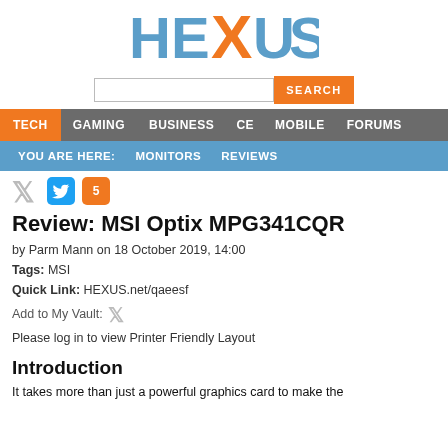[Figure (logo): HEXUS logo with orange X and blue-grey letters]
TECH  GAMING  BUSINESS  CE  MOBILE  FORUMS
YOU ARE HERE:  MONITORS  REVIEWS
Review: MSI Optix MPG341CQR
by Parm Mann on 18 October 2019, 14:00
Tags: MSI
Quick Link: HEXUS.net/qaeesf
Add to My Vault:
Please log in to view Printer Friendly Layout
Introduction
It takes more than just a powerful graphics card to make the